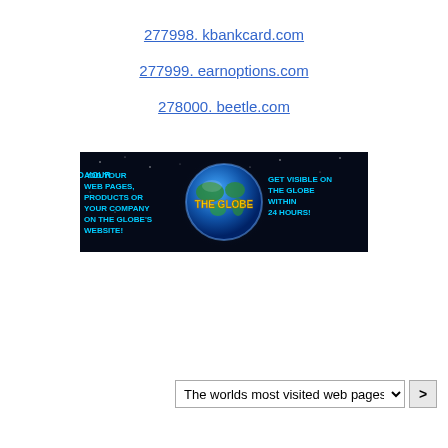277998. kbankcard.com
277999. earnoptions.com
278000. beetle.com
[Figure (illustration): Advertisement banner: dark space background with Earth globe in center. Left side reads 'ADD YOUR WEB PAGES, PRODUCTS OR YOUR COMPANY ON THE GLOBE'S WEBSITE!' in cyan bold text. Center shows 'THE GLOBE' in yellow text overlaid on the globe image. Right side reads 'GET VISIBLE ON THE GLOBE WITHIN 24 HOURS!' in cyan bold text.]
The worlds most visited web pages